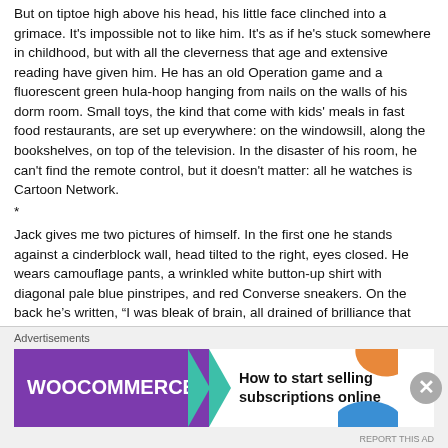But on tiptoe high above his head, his little face clinched into a grimace. It's impossible not to like him. It's as if he's stuck somewhere in childhood, but with all the cleverness that age and extensive reading have given him. He has an old Operation game and a fluorescent green hula-hoop hanging from nails on the walls of his dorm room. Small toys, the kind that come with kids' meals in fast food restaurants, are set up everywhere: on the windowsill, along the bookshelves, on top of the television. In the disaster of his room, he can't find the remote control, but it doesn't matter: all he watches is Cartoon Network.
*
Jack gives me two pictures of himself. In the first one he stands against a cinderblock wall, head tilted to the right, eyes closed. He wears camouflage pants, a wrinkled white button-up shirt with diagonal pale blue pinstripes, and red Converse sneakers. On the back he's written, "I was bleak of brain, all drained of brilliance that day. Of course, I only look 7% better on other days." I recognize the quote, as he knew I would; it's a line from "Howl" by Allen Ginsberg. The other one is his second-grade school photograph. Along the top his mother had written in round blue letters, "Jackson Columbus Svenson, grade 2," to which Jack added: "It was all downhill after this."
He's as bright as he was reputed to be. He's particularly marvelous when taking tests, but he can't seem to make himself do his schoolwork. The last two or three days before a test he does several
[Figure (screenshot): Advertisement banner for WooCommerce: 'How to start selling subscriptions online']